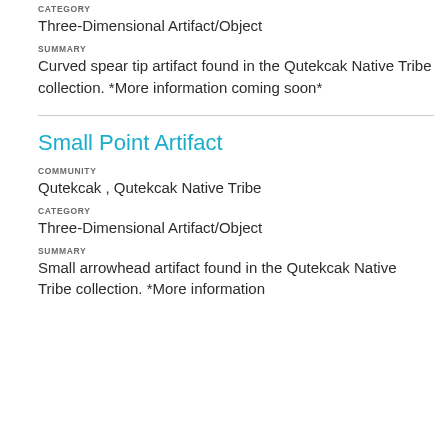CATEGORY
Three-Dimensional Artifact/Object
SUMMARY
Curved spear tip artifact found in the Qutekcak Native Tribe collection. *More information coming soon*
Small Point Artifact
COMMUNITY
Qutekcak , Qutekcak Native Tribe
CATEGORY
Three-Dimensional Artifact/Object
SUMMARY
Small arrowhead artifact found in the Qutekcak Native Tribe collection. *More information